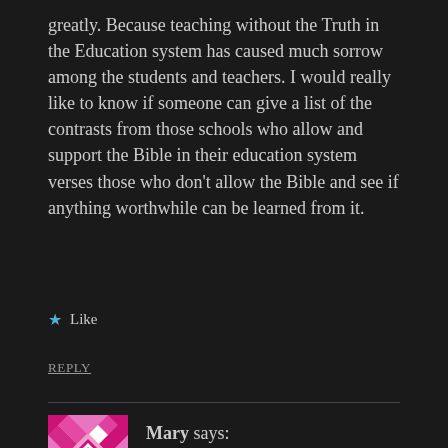greatly. Because teaching without the Truth in the Education system has caused much sorrow among the students and teachers. I would really like to know if someone can give a list of the contrasts from those schools who allow and support the Bible in their education system verses those who don't allow the Bible and see if anything worthwhile can be learned from it.
★ Like
REPLY
Mary says: November 3, 2019 at 6:46 pm